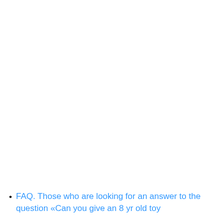FAQ. Those who are looking for an answer to the question «Can you give an 8 yr old toy